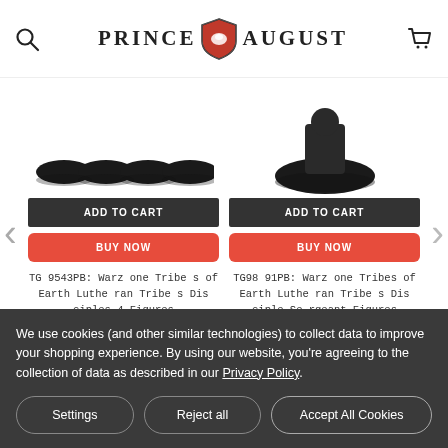Prince August
[Figure (photo): Miniature figure bases (black oval bases) for left product]
[Figure (photo): Miniature figure on black base for right product]
ADD TO CART
BUY NOW
ADD TO CART
BUY NOW
TG 9543PB: Warzone Tribes of Earth Lutheran Tribes Disciples 4 Figures
€11.79
TG98 91PB: Warzone Tribes of Earth Lutheran Tribes Disciple Sergeant Figures
€4.02
We use cookies (and other similar technologies) to collect data to improve your shopping experience. By using our website, you're agreeing to the collection of data as described in our Privacy Policy.
Settings
Reject all
Accept All Cookies